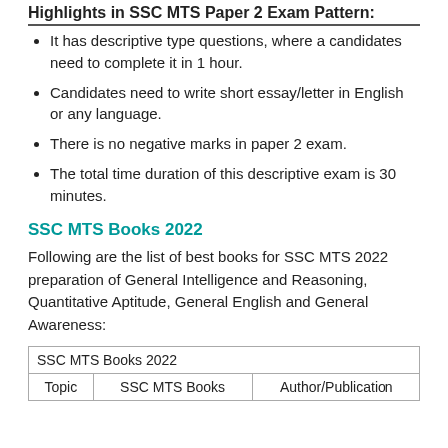Highlights in SSC MTS Paper 2 Exam Pattern:
It has descriptive type questions, where a candidates need to complete it in 1 hour.
Candidates need to write short essay/letter in English or any language.
There is no negative marks in paper 2 exam.
The total time duration of this descriptive exam is 30 minutes.
SSC MTS Books 2022
Following are the list of best books for SSC MTS 2022 preparation of General Intelligence and Reasoning, Quantitative Aptitude, General English and General Awareness:
| SSC MTS Books 2022 |  |  |
| --- | --- | --- |
| Topic | SSC MTS Books | Author/Publication |